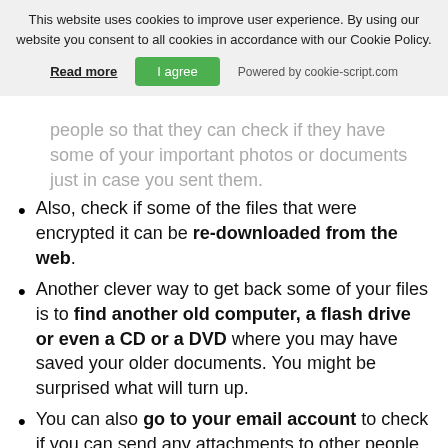This website uses cookies to improve user experience. By using our website you consent to all cookies in accordance with our Cookie Policy. Read more | I agree | Powered by cookie-script.com
people so that they can check if they have some of your important photos or documents just in case you sent them.
Also, check if some of the files that were encrypted it can be re-downloaded from the web.
Another clever way to get back some of your files is to find another old computer, a flash drive or even a CD or a DVD where you may have saved your older documents. You might be surprised what will turn up.
You can also go to your email account to check if you can send any attachments to other people. Usually what is sent the email is saved on your account and you can re-download it. But most importantly, make sure that this is